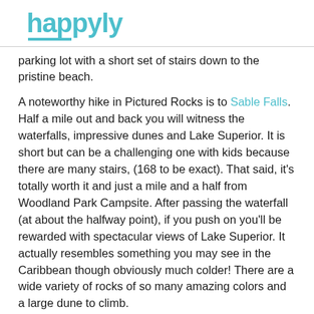happyly
parking lot with a short set of stairs down to the pristine beach.
A noteworthy hike in Pictured Rocks is to Sable Falls. Half a mile out and back you will witness the waterfalls, impressive dunes and Lake Superior. It is short but can be a challenging one with kids because there are many stairs, (168 to be exact). That said, it’s totally worth it and just a mile and a half from Woodland Park Campsite. After passing the waterfall (at about the halfway point), if you push on you’ll be rewarded with spectacular views of Lake Superior. It actually resembles something you may see in the Caribbean though obviously much colder! There are a wide variety of rocks of so many amazing colors and a large dune to climb.